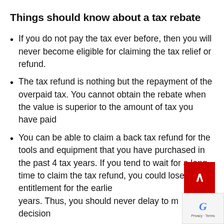Things should know about a tax rebate
If you do not pay the tax ever before, then you will never become eligible for claiming the tax relief or refund.
The tax refund is nothing but the repayment of the overpaid tax. You cannot obtain the rebate when the value is superior to the amount of tax you have paid
You can be able to claim a back tax refund for the tools and equipment that you have purchased in the past 4 tax years. If you tend to wait for a long time to claim the tax refund, you could lose the entitlement for the earliest years. Thus, you should never delay to make a decision
You can be able to claim a refund for the tools,